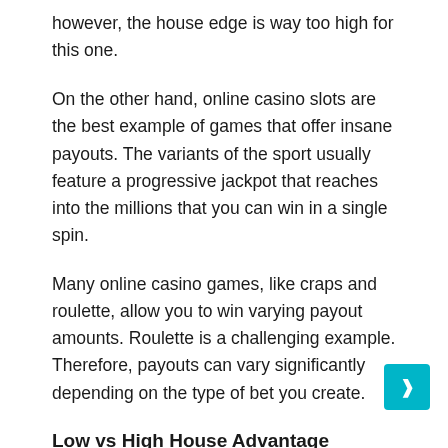however, the house edge is way too high for this one.
On the other hand, online casino slots are the best example of games that offer insane payouts. The variants of the sport usually feature a progressive jackpot that reaches into the millions that you can win in a single spin.
Many online casino games, like craps and roulette, allow you to win varying payout amounts. Roulette is a challenging example. Therefore, payouts can vary significantly depending on the type of bet you create.
Low vs High House Advantage